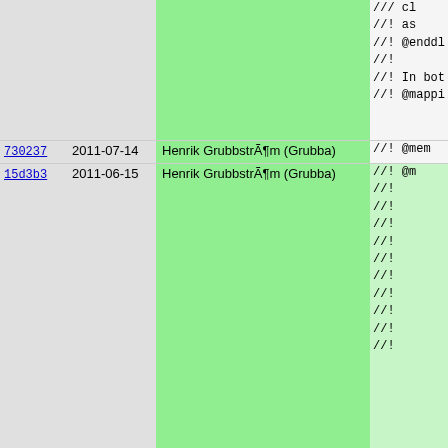| hash | date | author | code |
| --- | --- | --- | --- |
|  |  |  | //! cl
//! as
//! @enddl
//!
//! In bot
//! @mappi |
| 730237 | 2011-07-14 | Henrik GrubbstrÃ¶m (Grubba) | //! @mem |
| 15d3b3 | 2011-06-15 | Henrik GrubbstrÃ¶m (Grubba) | //! @m
//!
//!
//!
//!
//!
//!
//!
//!
//!
//! |
| 730237 | 2011-07-14 | Henrik GrubbstrÃ¶m (Grubba) | //!
//!
//! |
| 15d3b3 | 2011-06-15 | Henrik GrubbstrÃ¶m (Grubba) | //! @e
//! @endma |
| 730237 | 2011-07-14 | Henrik GrubbstrÃ¶m (Grubba) | mapping(st |
| 654f43 | 2009-03-23 | Martin Stjernholm | urls = ( |
| 15d3b3 | 2011-06-15 | Henrik GrubbstrÃ¶m (Grubba) |  |